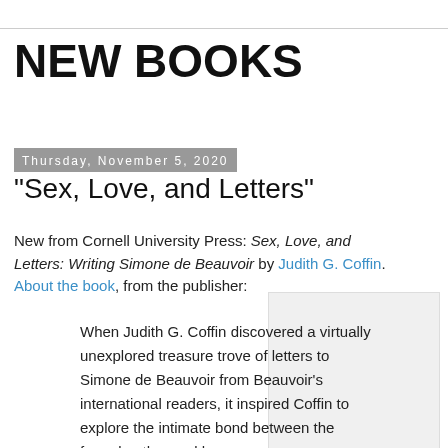NEW BOOKS
Thursday, November 5, 2020
"Sex, Love, and Letters"
New from Cornell University Press: Sex, Love, and Letters: Writing Simone de Beauvoir by Judith G. Coffin. About the book, from the publisher:
When Judith G. Coffin discovered a virtually unexplored treasure trove of letters to Simone de Beauvoir from Beauvoir's international readers, it inspired Coffin to explore the intimate bond between the famed author and her
[Figure (photo): Book cover image for Sex, Love, and Letters: Writing Simone de Beauvoir]